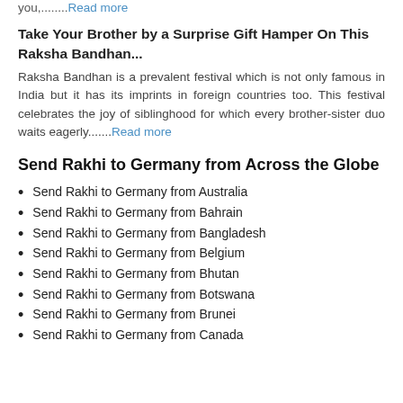you,........Read more
Take Your Brother by a Surprise Gift Hamper On This Raksha Bandhan...
Raksha Bandhan is a prevalent festival which is not only famous in India but it has its imprints in foreign countries too. This festival celebrates the joy of siblinghood for which every brother-sister duo waits eagerly.......Read more
Send Rakhi to Germany from Across the Globe
Send Rakhi to Germany from Australia
Send Rakhi to Germany from Bahrain
Send Rakhi to Germany from Bangladesh
Send Rakhi to Germany from Belgium
Send Rakhi to Germany from Bhutan
Send Rakhi to Germany from Botswana
Send Rakhi to Germany from Brunei
Send Rakhi to Germany from Canada